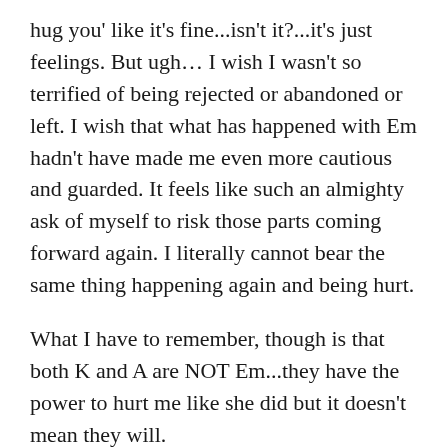hug you' like it's fine...isn't it?...it's just feelings. But ugh… I wish I wasn't so terrified of being rejected or abandoned or left. I wish that what has happened with Em hadn't have made me even more cautious and guarded. It feels like such an almighty ask of myself to risk those parts coming forward again. I literally cannot bear the same thing happening again and being hurt.
What I have to remember, though is that both K and A are NOT Em...they have the power to hurt me like she did but it doesn't mean they will.
At the end I said goodbye to K we had another hug and I told her, 'I've really missed you'...it's so much easier to say that when you can't be seen and are being held...although there was a part of me that didn't want to let that out at all! To a 'normal' person that would be a pretty simple thing to